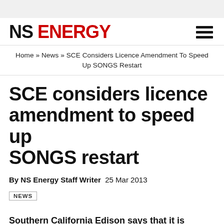NS ENERGY
Home » News » SCE Considers Licence Amendment To Speed Up SONGS Restart
SCE considers licence amendment to speed up SONGS restart
By NS Energy Staff Writer  25 Mar 2013
NEWS
Southern California Edison says that it is considering